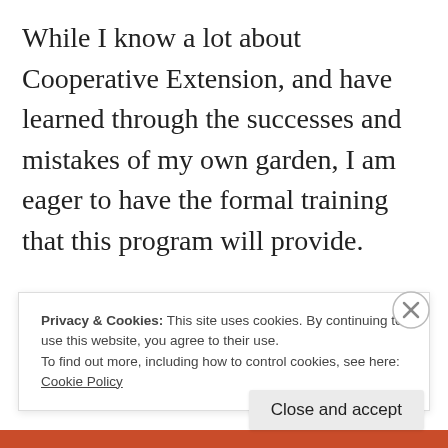While I know a lot about Cooperative Extension, and have learned through the successes and mistakes of my own garden, I am eager to have the formal training that this program will provide.
Because of COVID and the danger looming over the Delta variant, we will be receiving our
Privacy & Cookies: This site uses cookies. By continuing to use this website, you agree to their use.
To find out more, including how to control cookies, see here:
Cookie Policy
Close and accept